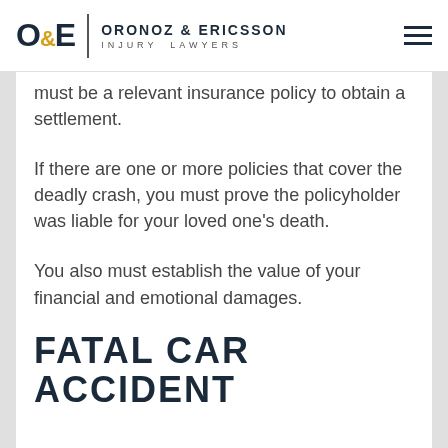O&E | ORONOZ & ERICSSON INJURY LAWYERS
must be a relevant insurance policy to obtain a settlement.
If there are one or more policies that cover the deadly crash, you must prove the policyholder was liable for your loved one's death.
You also must establish the value of your financial and emotional damages.
FATAL CAR ACCIDENT